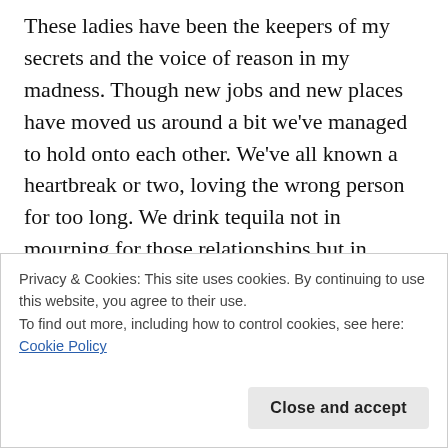These ladies have been the keepers of my secrets and the voice of reason in my madness. Though new jobs and new places have moved us around a bit we've managed to hold onto each other. We've all known a heartbreak or two, loving the wrong person for too long. We drink tequila not in mourning for those relationships but in celebration that they no longer have control over us.
The love I have for them isn't romantic but it is
Privacy & Cookies: This site uses cookies. By continuing to use this website, you agree to their use.
To find out more, including how to control cookies, see here: Cookie Policy